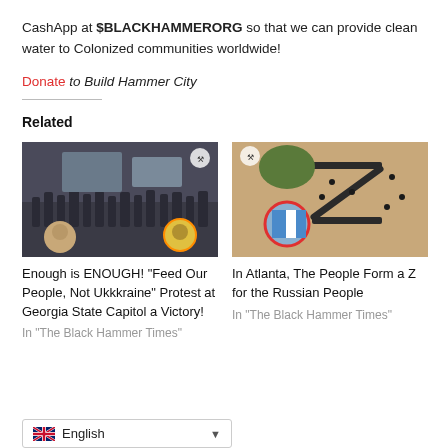CashApp at $BLACKHAMMERORG so that we can provide clean water to Colonized communities worldwide!
Donate to Build Hammer City
Related
[Figure (photo): Photo of a crowd protest with people gathered, two circular inset portrait photos at bottom corners, and a logo in the top right corner.]
Enough is ENOUGH! "Feed Our People, Not Ukkkraine" Protest at Georgia State Capitol a Victory!
In "The Black Hammer Times"
[Figure (photo): Aerial photo of people forming a Z shape on sandy ground, with a tree in the upper left and a circular inset image at the bottom left showing a flag, plus a logo in the top left corner.]
In Atlanta, The People Form a Z for the Russian People
In "The Black Hammer Times"
English